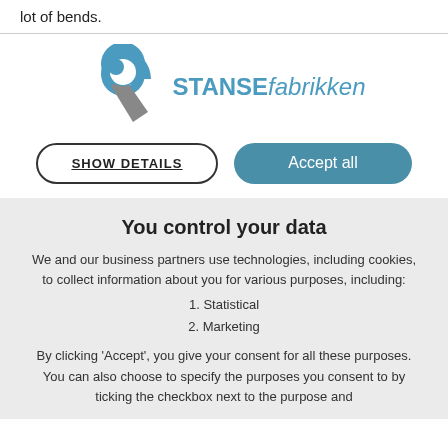lot of bends.
[Figure (logo): STANSEfabrikken logo with blue and grey stylized S shape]
SHOW DETAILS
Accept all
You control your data
We and our business partners use technologies, including cookies, to collect information about you for various purposes, including:
1. Statistical
2. Marketing
By clicking 'Accept', you give your consent for all these purposes. You can also choose to specify the purposes you consent to by ticking the checkbox next to the purpose and